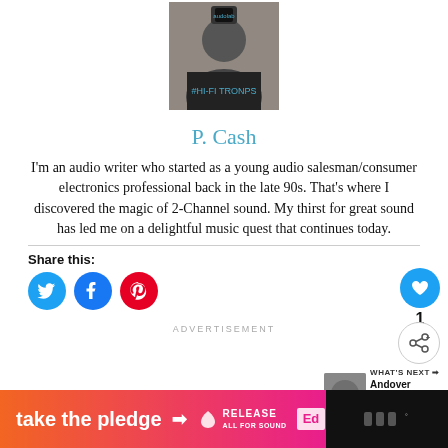[Figure (photo): Photo of P. Cash holding an audio device, wearing a black shirt with blue text]
P. Cash
I'm an audio writer who started as a young audio salesman/consumer electronics professional back in the late 90s. That's where I discovered the magic of 2-Channel sound. My thirst for great sound has led me on a delightful music quest that continues today.
Share this:
[Figure (infographic): Social share buttons: Twitter, Facebook, Pinterest circles]
[Figure (infographic): Like button (heart icon, count: 1) and share button]
WHAT'S NEXT → Andover Audio...
ADVERTISEMENT
[Figure (infographic): Bottom banner ad: 'take the pledge' with arrow, RELEASE logo, Ed logo, on orange-to-pink gradient background]